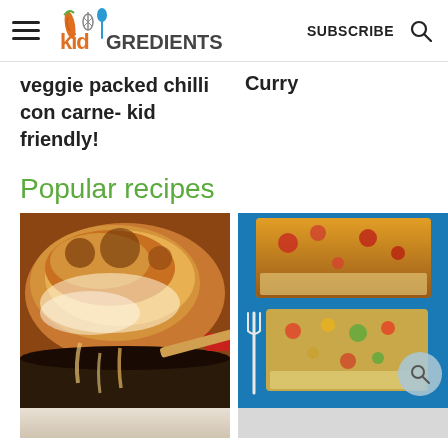kidGREDIENTS | SUBSCRIBE
Veggie packed chilli con carne- kid friendly!
Curry
Popular recipes
[Figure (photo): Close-up of cheesy baked lasagna in a cast iron skillet being lifted with a spatula]
[Figure (photo): Slices of vegetable frittata on a blue plate with a white fork]